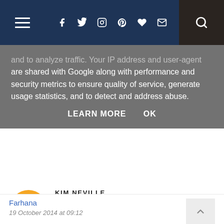Navigation bar with hamburger menu, social icons, and search
and to analyze traffic. Your IP address and user-agent are shared with Google along with performance and security metrics to ensure quality of service, generate usage statistics, and to detect and address abuse.
LEARN MORE   OK
KIM NEVILLE
19 October 2014 at 08:31
Pip and Posy and the Bedtime Frog
Reply
Farhana
19 October 2014 at 09:12